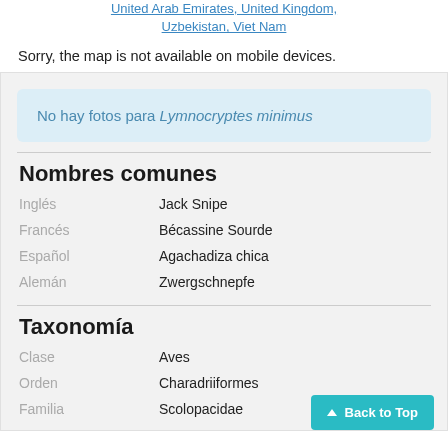United Arab Emirates, United Kingdom, Uzbekistan, Viet Nam
Sorry, the map is not available on mobile devices.
No hay fotos para Lymnocryptes minimus
Nombres comunes
Inglés: Jack Snipe
Francés: Bécassine Sourde
Español: Agachadiza chica
Alemán: Zwergschnepfe
Taxonomía
Clase: Aves
Orden: Charadriiformes
Familia: Scolopacidae